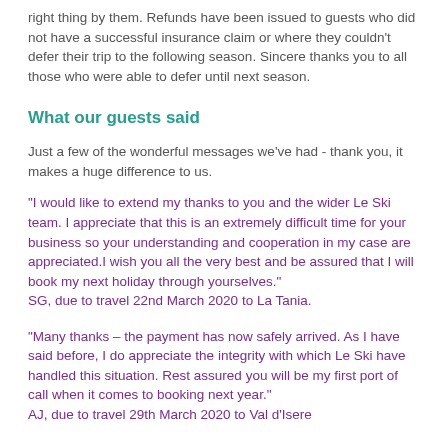right thing by them. Refunds have been issued to guests who did not have a successful insurance claim or where they couldn't defer their trip to the following season. Sincere thanks you to all those who were able to defer until next season.
What our guests said
Just a few of the wonderful messages we've had - thank you, it makes a huge difference to us.
"I would like to extend my thanks to you and the wider Le Ski team. I appreciate that this is an extremely difficult time for your business so your understanding and cooperation in my case are appreciated.I wish you all the very best and be assured that I will book my next holiday through yourselves."
SG, due to travel 22nd March 2020 to La Tania.
"Many thanks – the payment has now safely arrived. As I have said before, I do appreciate the integrity with which Le Ski have handled this situation. Rest assured you will be my first port of call when it comes to booking next year."
AJ, due to travel 29th March 2020 to Val d'Isere